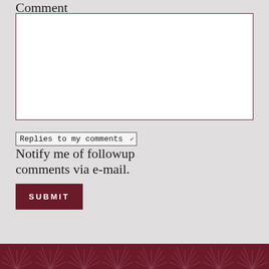Comment
[Figure (screenshot): Empty white textarea input box with dark red border for entering a comment]
Replies to my comments ▾  Notify me of followup comments via e-mail.
SUBMIT
[Figure (illustration): Dark red footer bar with repeating geometric starburst/fan pattern]